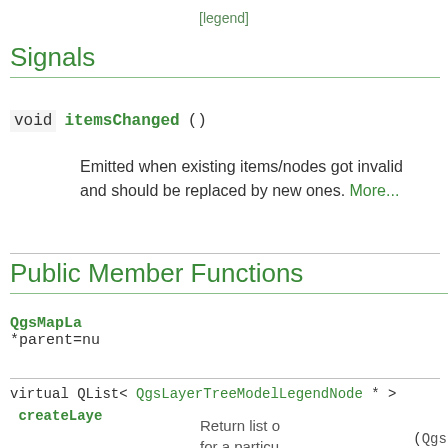[legend]
Signals
void itemsChanged ()
Emitted when existing items/nodes got invalid and should be replaced by new ones. More...
Public Member Functions
QgsMapLa *parent=nu
virtual QList< QgsLayerTreeModelLegendNode * > createLaye (QgsLayerT
Return list o for a particu More...